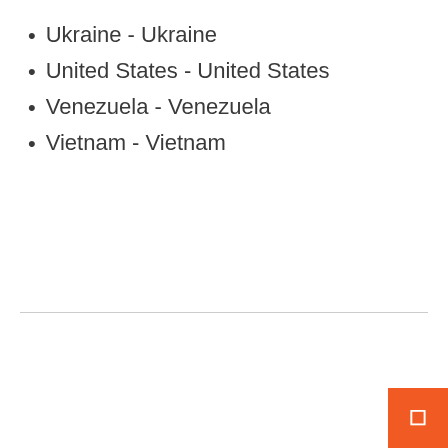Ukraine - Ukraine
United States - United States
Venezuela - Venezuela
Vietnam - Vietnam